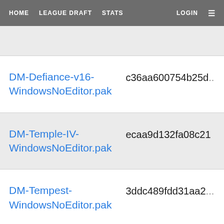HOME  LEAGUE DRAFT  STATS  LOGIN  ≡
DM-Defiance-v16-WindowsNoEditor.pak   c36aa600754b25d...
DM-Temple-IV-WindowsNoEditor.pak   ecaa9d132fa08c21...
DM-Tempest-WindowsNoEditor.pak   3ddc489fdd31aa23...